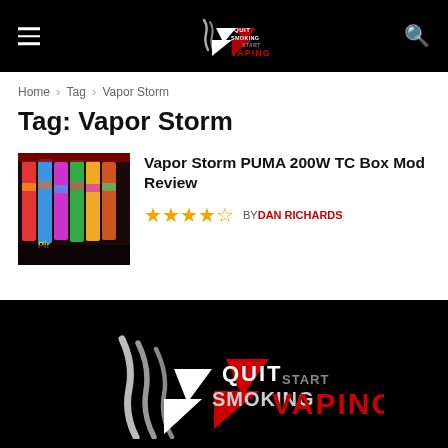Quit Smoking Start Vaping — navigation header
Home › Tag › Vapor Storm
Tag: Vapor Storm
[Figure (photo): Vapor Storm PUMA 200W TC Box Mod colorful devices lined up]
Vapor Storm PUMA 200W TC Box Mod Review ★★★★½ BY DAN RICHARDS
[Figure (logo): Quit Smoking Start Vaping footer logo in white and red on black background]